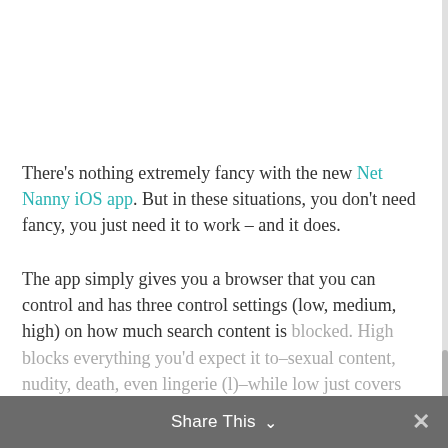There's nothing extremely fancy with the new Net Nanny iOS app. But in these situations, you don't need fancy, you just need it to work – and it does.
The app simply gives you a browser that you can control and has three control settings (low, medium, high) on how much search content is blocked. High blocks everything you'd expect it to–sexual content, nudity, death, even lingerie (l)–while low just covers the basics of pornography and nudity.
Share This ∨  ✕